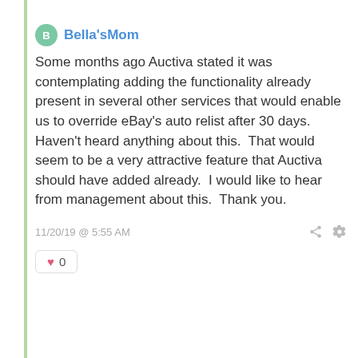Bella'sMom
Some months ago Auctiva stated it was contemplating adding the functionality already present in several other services that would enable us to override eBay's auto relist after 30 days.  Haven't heard anything about this.  That would seem to be a very attractive feature that Auctiva should have added already.  I would like to hear from management about this.  Thank you.
11/20/19 @ 5:55 AM
0